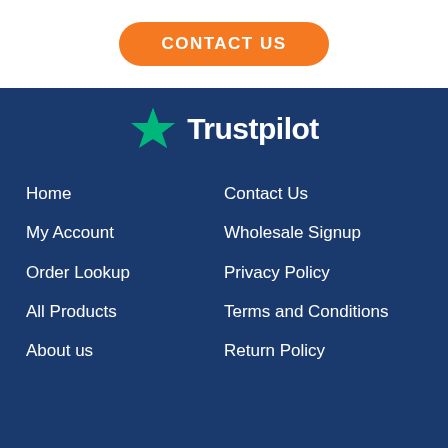[Figure (logo): Orange pill-shaped button with white bold uppercase text 'CONTACT US']
[Figure (logo): Trustpilot logo: green star on the left and white bold text 'Trustpilot' on dark blue background]
Home
Contact Us
My Account
Wholesale Signup
Order Lookup
Privacy Policy
All Products
Terms and Conditions
About us
Return Policy